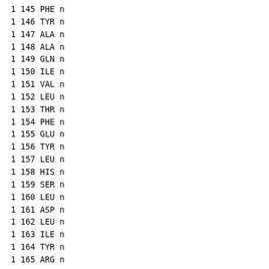| chain | resnum | resname | flag |
| --- | --- | --- | --- |
| 1 | 145 | PHE | n |
| 1 | 146 | TYR | n |
| 1 | 147 | ALA | n |
| 1 | 148 | ALA | n |
| 1 | 149 | GLN | n |
| 1 | 150 | ILE | n |
| 1 | 151 | VAL | n |
| 1 | 152 | LEU | n |
| 1 | 153 | THR | n |
| 1 | 154 | PHE | n |
| 1 | 155 | GLU | n |
| 1 | 156 | TYR | n |
| 1 | 157 | LEU | n |
| 1 | 158 | HIS | n |
| 1 | 159 | SER | n |
| 1 | 160 | LEU | n |
| 1 | 161 | ASP | n |
| 1 | 162 | LEU | n |
| 1 | 163 | ILE | n |
| 1 | 164 | TYR | n |
| 1 | 165 | ARG | n |
| 1 | 166 | ASP | n |
| 1 | 167 | LEU | n |
| 1 | 168 | LYS | n |
| 1 | 169 | PRO | n |
| 1 | 170 | GLU | n |
| 1 | 171 | ASN | n |
| 1 | 172 | LEU | n |
| 1 | 173 | LEU | n |
| 1 | 174 | ILE | n |